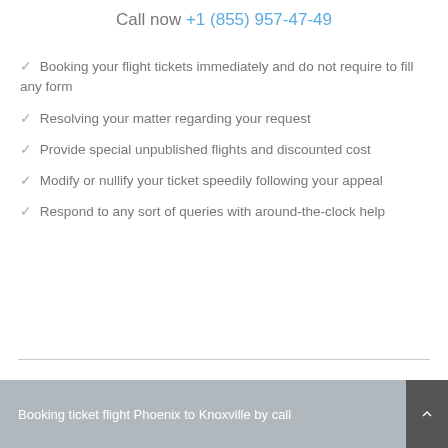Call now +1 (855) 957-47-49
✓ Booking your flight tickets immediately and do not require to fill any form
✓ Resolving your matter regarding your request
✓ Provide special unpublished flights and discounted cost
✓ Modify or nullify your ticket speedily following your appeal
✓ Respond to any sort of queries with around-the-clock help
Booking ticket flight Phoenix to Knoxville by call